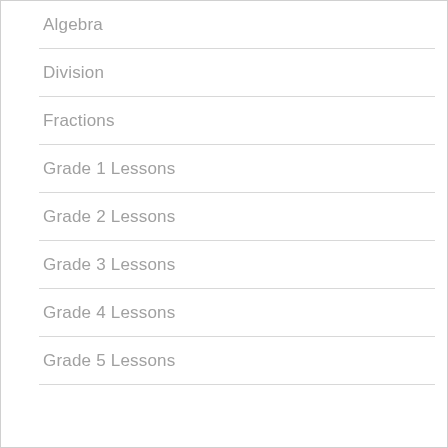Algebra
Division
Fractions
Grade 1 Lessons
Grade 2 Lessons
Grade 3 Lessons
Grade 4 Lessons
Grade 5 Lessons